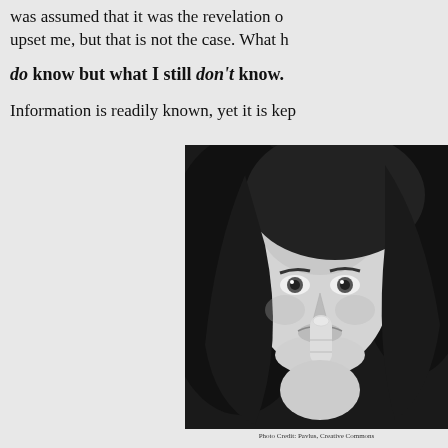was assumed that it was the revelation of upset me, but that is not the case. What h do know but what I still don't know.
Information is readily known, yet it is kep
[Figure (photo): Black and white photograph of a young woman with long dark hair holding her index finger to her lips in a shushing gesture, looking directly at the camera against a dark background.]
Photo Credit: Pavlus, Creative Commons